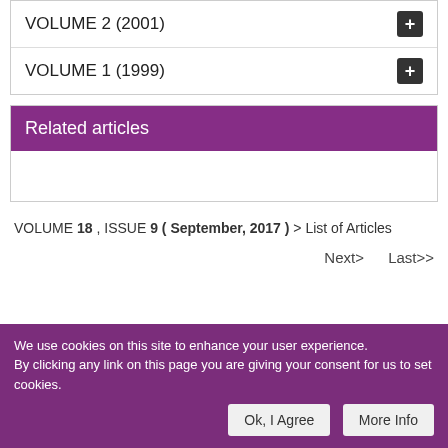VOLUME 2 (2001)
VOLUME 1 (1999)
Related articles
VOLUME 18 , ISSUE 9 ( September, 2017 ) > List of Articles
Next>     Last>>
We use cookies on this site to enhance your user experience. By clicking any link on this page you are giving your consent for us to set cookies.